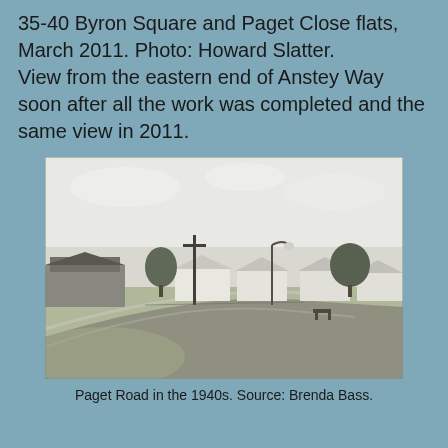35-40 Byron Square and Paget Close flats, March 2011. Photo: Howard Slatter. View from the eastern end of Anstey Way soon after all the work was completed and the same view in 2011.
[Figure (photo): Black and white historical photograph of Paget Road in the 1940s, showing a curved road with terraced houses on the left, semi-detached white houses in the background, a telegraph pole, a street lamp, and open grassy areas.]
Paget Road in the 1940s. Source: Brenda Bass.